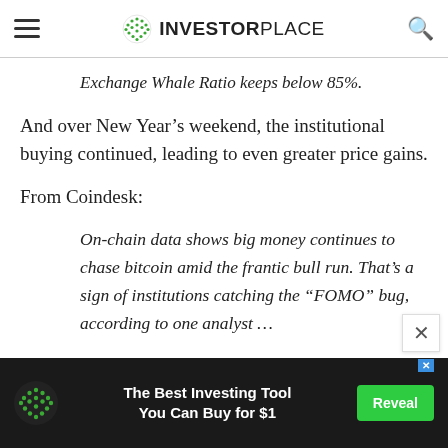INVESTORPLACE
Exchange Whale Ratio keeps below 85%.
And over New Year’s weekend, the institutional buying continued, leading to even greater price gains.
From Coindesk:
On-chain data shows big money continues to chase bitcoin amid the frantic bull run. That’s a sign of institutions catching the “FOMO” bug, according to one analyst…
The Best Investing Tool You Can Buy for $1 Reveal